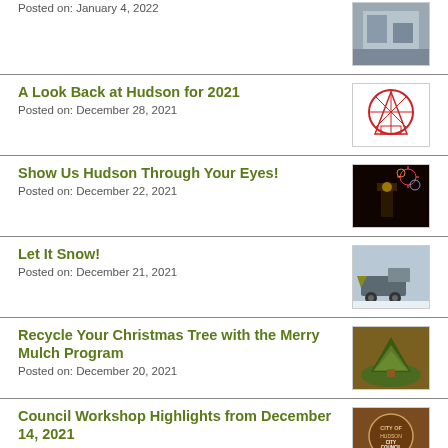Posted on: January 4, 2022
A Look Back at Hudson for 2021
Posted on: December 28, 2021
Show Us Hudson Through Your Eyes!
Posted on: December 22, 2021
Let It Snow!
Posted on: December 21, 2021
Recycle Your Christmas Tree with the Merry Mulch Program
Posted on: December 20, 2021
Council Workshop Highlights from December 14, 2021
Posted on: December 21, 2021